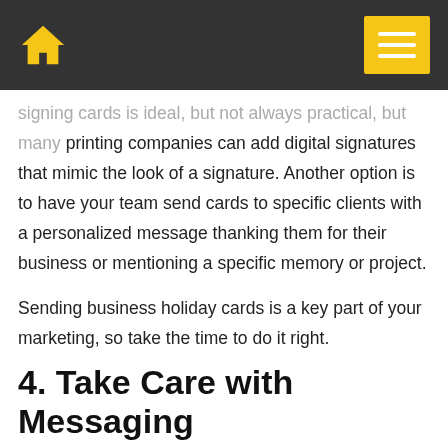[home icon] [menu button]
signing cards is ideal, but not always practical, but many printing companies can add digital signatures that mimic the look of a signature. Another option is to have your team send cards to specific clients with a personalized message thanking them for their business or mentioning a specific memory or project.
Sending business holiday cards is a key part of your marketing, so take the time to do it right.
4. Take Care with Messaging
Understanding your customer base and being culturally sensitive is important all the time, but in particular during the holidays. It's important to choose holiday cards and write messages that are sensitive to your customers'